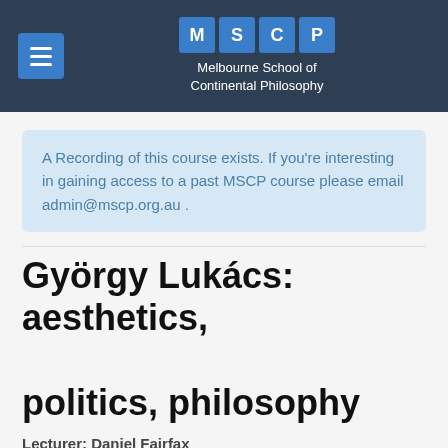MSCP — Melbourne School of Continental Philosophy
A Recording of this course exists. If you're interesting in gaining access to a past MSCP course please email admin@mscp.org.au .
György Lukács: aesthetics, politics, philosophy
Lecturer: Daniel Fairfax
Originally Taught: Winter School 2016